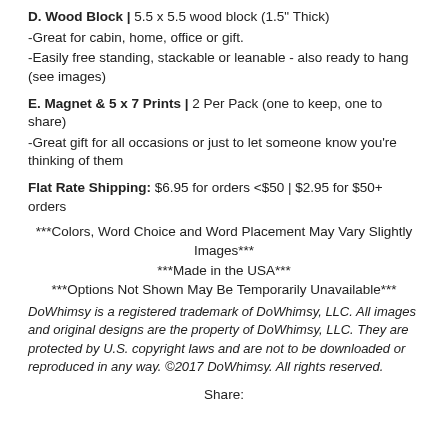D. Wood Block | 5.5 x 5.5 wood block (1.5" Thick)
-Great for cabin, home, office or gift.
-Easily free standing, stackable or leanable - also ready to hang (see images)
E. Magnet & 5 x 7 Prints | 2 Per Pack (one to keep, one to share)
-Great gift for all occasions or just to let someone know you’re thinking of them
Flat Rate Shipping:  $6.95 for orders <$50 | $2.95 for $50+ orders
***Colors, Word Choice and Word Placement May Vary Slightly Images***
***Made in the USA***
***Options Not Shown May Be Temporarily Unavailable***
DoWhimsy is a registered trademark of DoWhimsy, LLC. All images and original designs are the property of DoWhimsy, LLC. They are protected by U.S. copyright laws and are not to be downloaded or reproduced in any way. ©2017 DoWhimsy.  All rights reserved.
Share: